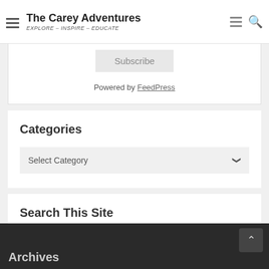The Carey Adventures — EXPLORE – INSPIRE – EDUCATE
Subscribe
Powered by FeedPress
Categories
Select Category
Search This Site
Search …
Archives